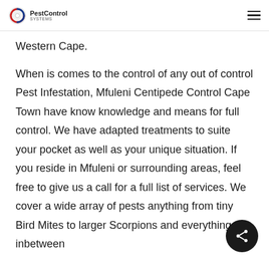PestControl [logo] [hamburger menu]
Western Cape.

When is comes to the control of any out of control Pest Infestation, Mfuleni Centipede Control Cape Town have know knowledge and means for full control. We have adapted treatments to suite your pocket as well as your unique situation. If you reside in Mfuleni or surrounding areas, feel free to give us a call for a full list of services. We cover a wide array of pests anything from tiny Bird Mites to larger Scorpions and everything inbetween